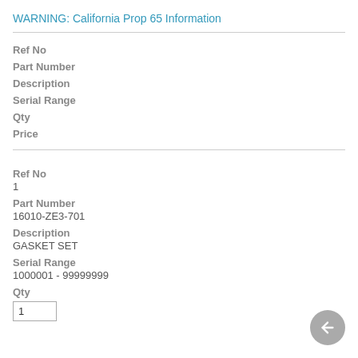WARNING: California Prop 65 Information
| Ref No | Part Number | Description | Serial Range | Qty | Price |
| --- | --- | --- | --- | --- | --- |
| Ref No | Part Number | Description | Serial Range | Qty |
| --- | --- | --- | --- | --- |
| 1 | 16010-ZE3-701 | GASKET SET | 1000001 - 99999999 | 1 |